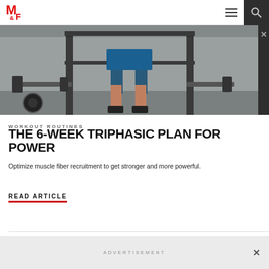M&F logo, navigation hamburger menu, search button
[Figure (photo): Man standing at a squat rack / weight bench in a gym, wearing blue shorts, viewed from waist down. Barbells and weight plates visible on the floor.]
WORKOUT ROUTINES
THE 6-WEEK TRIPHASIC PLAN FOR POWER
Optimize muscle fiber recruitment to get stronger and more powerful.
READ ARTICLE
ADVERTISEMENT